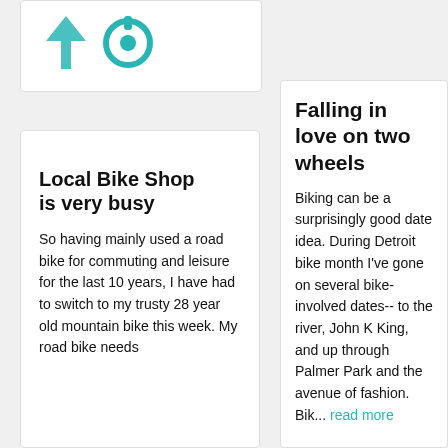[Figure (illustration): Partial card showing two teal/cyan icons at the top of the page]
Local Bike Shop is very busy
So having mainly used a road bike for commuting and leisure for the last 10 years, I have had to switch to my trusty 28 year old mountain bike this week. My road bike needs
Falling in love on two wheels
Biking can be a surprisingly good date idea. During Detroit bike month I've gone on several bike-involved dates-- to the river, John K King, and up through Palmer Park and the avenue of fashion. Bik... read more